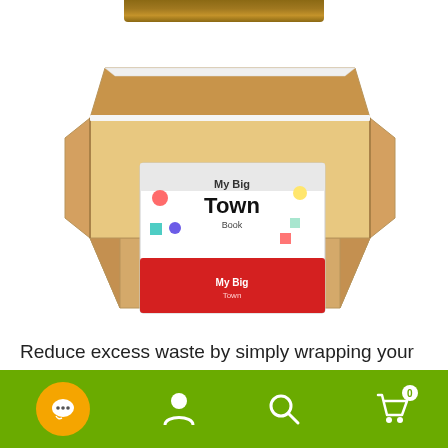[Figure (photo): A corrugated cardboard wrap/mailer box opened flat showing a children's book 'My Big Town Book' placed inside. A cardboard strip is shown at the top of the image.]
Reduce excess waste by simply wrapping your product in the flexible corrugated cardboard for all-round protection and a close fit to prevent movement in transit.